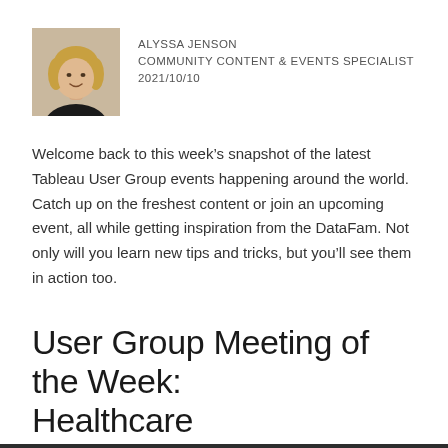[Figure (photo): Headshot photo of Alyssa Jenson, a woman with blonde hair wearing a black top]
ALYSSA JENSON
COMMUNITY CONTENT & EVENTS SPECIALIST
2021/10/10
Welcome back to this week’s snapshot of the latest Tableau User Group events happening around the world. Catch up on the freshest content or join an upcoming event, all while getting inspiration from the DataFam. Not only will you learn new tips and tricks, but you’ll see them in action too.
User Group Meeting of the Week: Healthcare